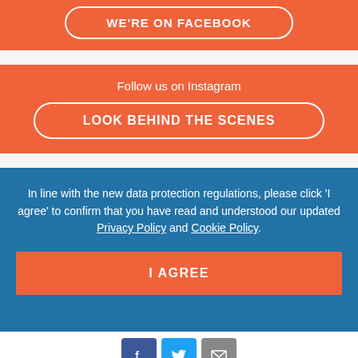WE'RE ON FACEBOOK
Follow us on Instagram
LOOK BEHIND THE SCENES
In line with the new data protection regulations, please click 'I agree' to confirm that you have read and understood our updated Privacy Policy and Cookie Policy.
I AGREE
[Figure (other): Social media icons row: Facebook (blue), Twitter (light blue), Email (grey)]